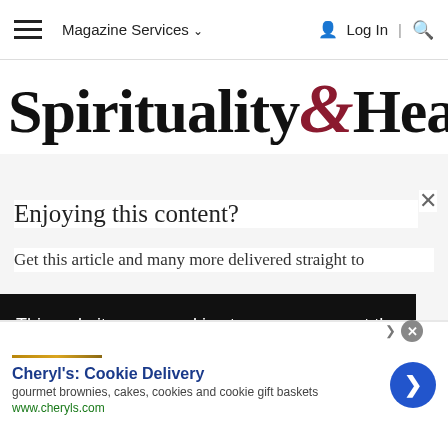Magazine Services ▾ | Log In | 🔍
[Figure (logo): Spirituality & Health magazine logo with ampersand in dark red italic]
×
Enjoying this content?
Get this article and many more delivered straight to
This website uses cookies to ensure you get the best experience on our website. Learn More
[Figure (other): Advertisement for Cheryl's Cookie Delivery: gourmet brownies, cakes, cookies and cookie gift baskets, www.cheryls.com]